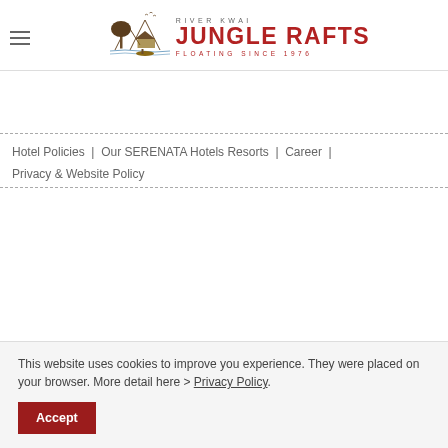River Kwai Jungle Rafts — Floating Since 1976
Hotel Policies | Our SERENATA Hotels Resorts | Career | Privacy & Website Policy
This website uses cookies to improve you experience. They were placed on your browser. More detail here > Privacy Policy.